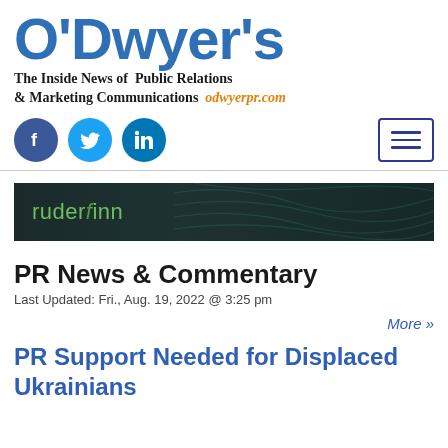[Figure (logo): O'Dwyer's logo — large blue bold stylized text]
The Inside News of Public Relations & Marketing Communications odwyerpr.com
[Figure (infographic): Social media icons: Facebook, Twitter, LinkedIn circles and hamburger menu button]
[Figure (other): Ruder Finn advertisement banner — dark teal background with ruderfinn logo in green]
PR News & Commentary
Last Updated: Fri., Aug. 19, 2022 @ 3:25 pm
More »
PR Support Needed for Displaced Ukrainians